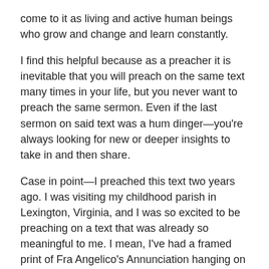come to it as living and active human beings who grow and change and learn constantly.
I find this helpful because as a preacher it is inevitable that you will preach on the same text many times in your life, but you never want to preach the same sermon. Even if the last sermon on said text was a hum dinger—you're always looking for new or deeper insights to take in and then share.
Case in point—I preached this text two years ago. I was visiting my childhood parish in Lexington, Virginia, and I was so excited to be preaching on a text that was already so meaningful to me. I mean, I've had a framed print of Fra Angelico's Annunciation hanging on my wall since college, always hoping to be inspired by Mary's courageous statement: Let it be. This was my jam! And